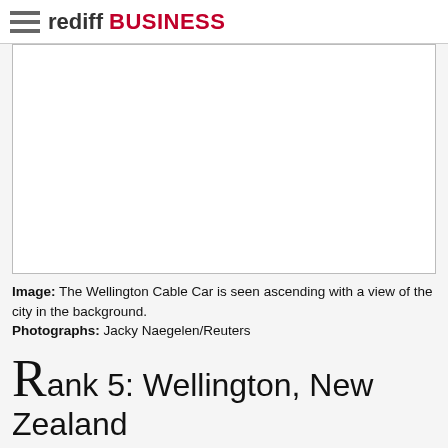rediff BUSINESS
[Figure (photo): Blank white image placeholder for the Wellington Cable Car photo]
Image: The Wellington Cable Car is seen ascending with a view of the city in the background.
Photographs: Jacky Naegelen/Reuters
Rank 5: Wellington, New Zealand
Area: 112 sq miles (290 km²)
Population: 200,100.
Please